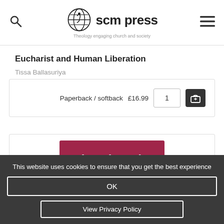[Figure (logo): SCM Press logo with globe icon and tagline 'Theology engaging church and society']
Eucharist and Human Liberation
Tissa Ballasuriya
Paperback / softback  £16.99  1
[Figure (illustration): Partial view of a book cover with crimson/dark-pink background showing partial text 'Church Order']
This website uses cookies to ensure that you get the best experience
OK
View Privacy Policy